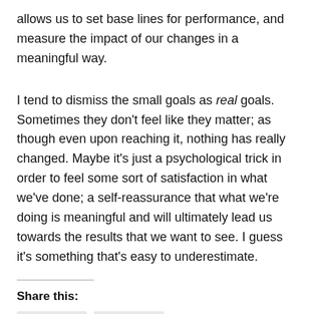allows us to set base lines for performance, and measure the impact of our changes in a meaningful way.
I tend to dismiss the small goals as real goals. Sometimes they don't feel like they matter; as though even upon reaching it, nothing has really changed. Maybe it's just a psychological trick in order to feel some sort of satisfaction in what we've done; a self-reassurance that what we're doing is meaningful and will ultimately lead us towards the results that we want to see. I guess it's something that's easy to underestimate.
Share this: